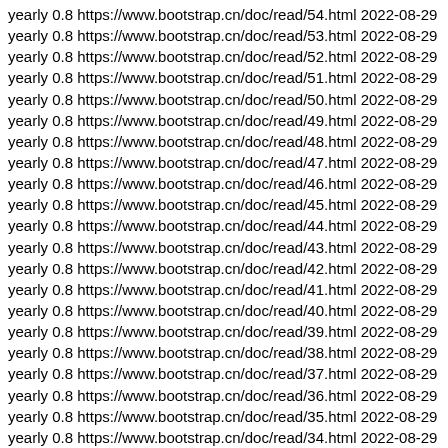yearly 0.8 https://www.bootstrap.cn/doc/read/54.html 2022-08-29
yearly 0.8 https://www.bootstrap.cn/doc/read/53.html 2022-08-29
yearly 0.8 https://www.bootstrap.cn/doc/read/52.html 2022-08-29
yearly 0.8 https://www.bootstrap.cn/doc/read/51.html 2022-08-29
yearly 0.8 https://www.bootstrap.cn/doc/read/50.html 2022-08-29
yearly 0.8 https://www.bootstrap.cn/doc/read/49.html 2022-08-29
yearly 0.8 https://www.bootstrap.cn/doc/read/48.html 2022-08-29
yearly 0.8 https://www.bootstrap.cn/doc/read/47.html 2022-08-29
yearly 0.8 https://www.bootstrap.cn/doc/read/46.html 2022-08-29
yearly 0.8 https://www.bootstrap.cn/doc/read/45.html 2022-08-29
yearly 0.8 https://www.bootstrap.cn/doc/read/44.html 2022-08-29
yearly 0.8 https://www.bootstrap.cn/doc/read/43.html 2022-08-29
yearly 0.8 https://www.bootstrap.cn/doc/read/42.html 2022-08-29
yearly 0.8 https://www.bootstrap.cn/doc/read/41.html 2022-08-29
yearly 0.8 https://www.bootstrap.cn/doc/read/40.html 2022-08-29
yearly 0.8 https://www.bootstrap.cn/doc/read/39.html 2022-08-29
yearly 0.8 https://www.bootstrap.cn/doc/read/38.html 2022-08-29
yearly 0.8 https://www.bootstrap.cn/doc/read/37.html 2022-08-29
yearly 0.8 https://www.bootstrap.cn/doc/read/36.html 2022-08-29
yearly 0.8 https://www.bootstrap.cn/doc/read/35.html 2022-08-29
yearly 0.8 https://www.bootstrap.cn/doc/read/34.html 2022-08-29
yearly 0.8 https://www.bootstrap.cn/doc/read/33.html 2022-08-29
yearly 0.8 https://www.bootstrap.cn/doc/read/32.html 2022-08-29
yearly 0.8 https://www.bootstrap.cn/doc/read/31.html 2022-08-29
yearly 0.8 https://www.bootstrap.cn/doc/read/30.html 2022-08-29